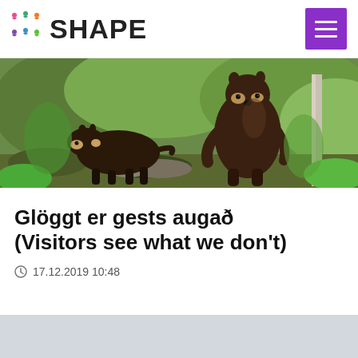SHAPE
[Figure (photo): Two wolverines in a green forest setting, one standing upright looking alert, one crouching on rocks]
Glöggt er gests augað (Visitors see what we don't)
17.12.2019 10:48